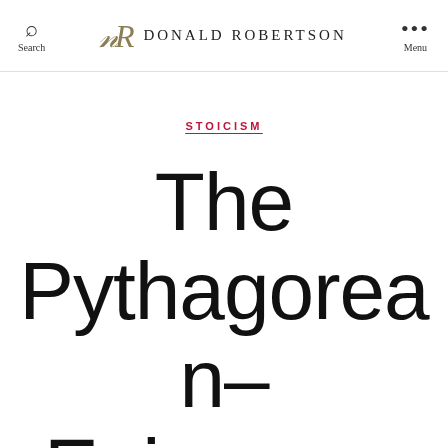Search | DR Donald Robertson | Menu
STOICISM
The Pythagorean-Epicurean Succession